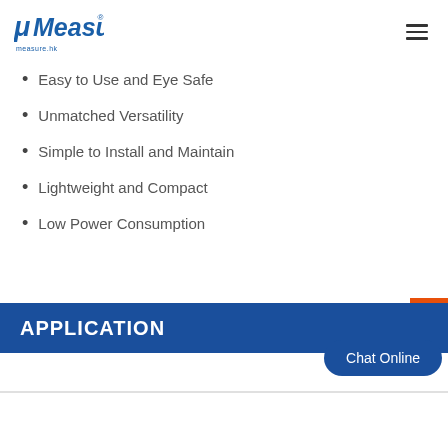μMeasure measure.hk
Easy to Use and Eye Safe
Unmatched Versatility
Simple to Install and Maintain
Lightweight and Compact
Low Power Consumption
APPLICATION
Chat Online